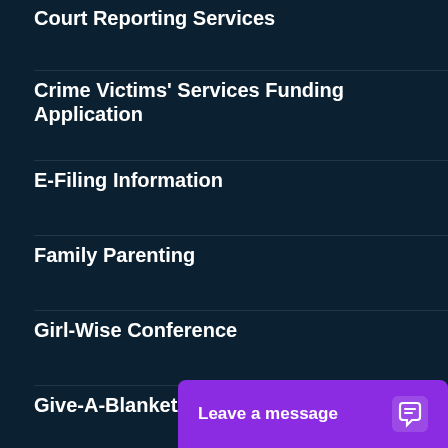Court Reporting Services
Crime Victims' Services Funding Application
E-Filing Information
Family Parenting
Girl-Wise Conference
Give-A-Blanket/Give-A-Book
Internship Program
Judicial Services Programs
Judicial Speakers